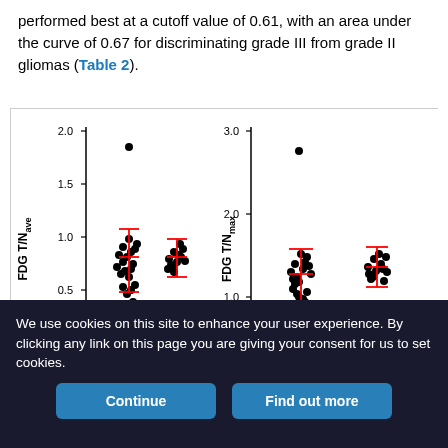performed best at a cutoff value of 0.61, with an area under the curve of 0.67 for discriminating grade III from grade II gliomas (Table 2).
[Figure (scatter-plot): Two scatter plots side by side. Left: FDG T/N_ave (y-axis 0.0–2.0) vs grade (x-axis 2 and 3). n=23 for grade 2, n=12 for grade 3. Right: FDG T/N_max (y-axis 0.0–3.0) vs grade (x-axis 2 and 3). n=23 for grade 2, n=12 for grade 3. Red error bars shown for each group.]
We use cookies on this site to enhance your user experience. By clicking any link on this page you are giving your consent for us to set cookies.